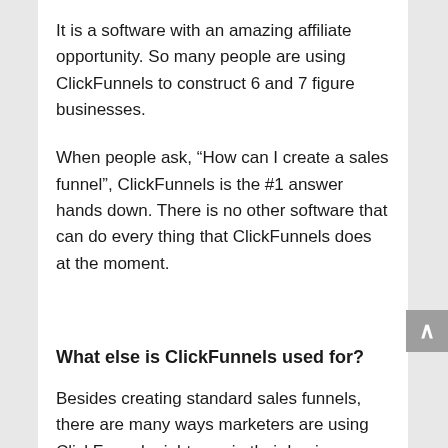It is a software with an amazing affiliate opportunity. So many people are using ClickFunnels to construct 6 and 7 figure businesses.
When people ask, “How can I create a sales funnel”, ClickFunnels is the #1 answer hands down. There is no other software that can do every thing that ClickFunnels does at the moment.
What else is ClickFunnels used for?
Besides creating standard sales funnels, there are many ways marketers are using ClickFunnels right now in their business.